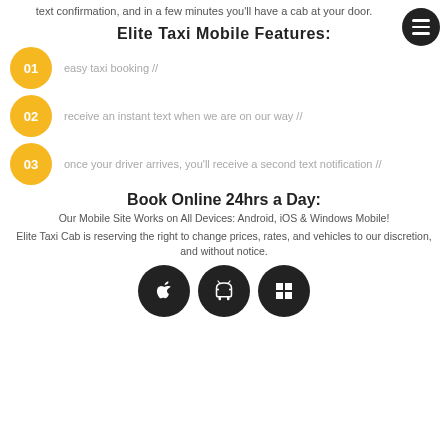text confirmation, and in a few minutes you'll have a cab at your door.
Elite Taxi Mobile Features:
01 easy taxi booking //
02 receive an instant text when we are on our way //
03 once your driver arrives, you'll receive a second text notification //
Book Online 24hrs a Day:
Our Mobile Site Works on All Devices: Android, iOS & Windows Mobile!
Elite Taxi Cab is reserving the right to change prices, rates, and vehicles to our discretion, and without notice.
[Figure (illustration): Three app store download buttons (Apple, Android, Windows) as black circles with white icons]